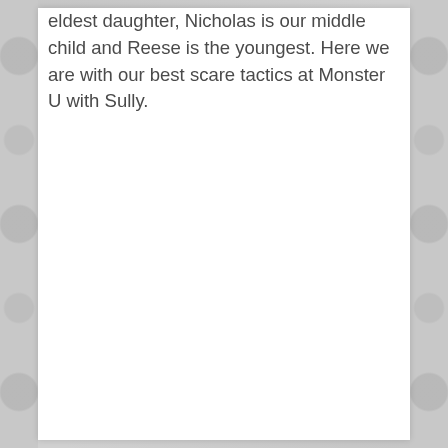eldest daughter, Nicholas is our middle child and Reese is the youngest. Here we are with our best scare tactics at Monster U with Sully.